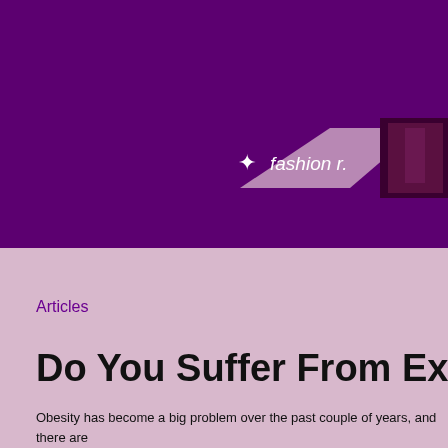[Figure (logo): Fashion website logo with star/sparkle icon and text 'fashion r.' on a diagonal banner with purple background and fashion photo]
Articles
Do You Suffer From Excess Sk
Obesity has become a big problem over the past couple of years, and there are they look. They want to do anything that would help them to lose weight; how